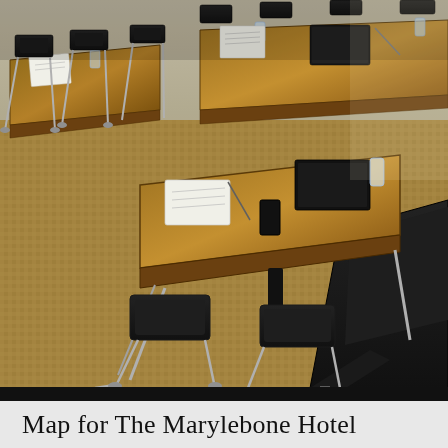[Figure (photo): Interior of a hotel conference room with rows of wooden tables arranged in a classroom style, each with black leather chairs, notepads, pens, and water glasses. The floor has a tan/beige woven carpet. Chrome chair legs are visible. Lighting is natural and warm.]
Map for The Marylebone Hotel